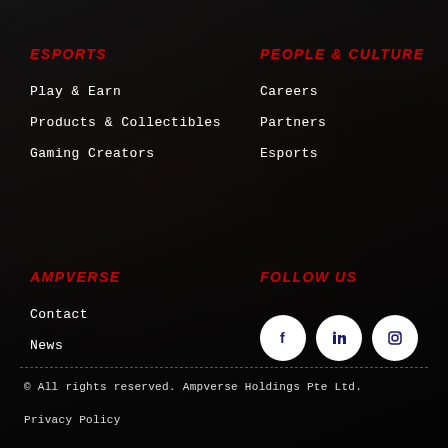ESPORTS
Play & Earn
Products & Collectibles
Gaming Creators
PEOPLE & CULTURE
Careers
Partners
Esports
AMPVERSE
Contact
News
FOLLOW US
[Figure (infographic): Social media icons: Facebook, LinkedIn, Instagram in white circles]
© All rights reserved. Ampverse Holdings Pte Ltd.
Privacy Policy